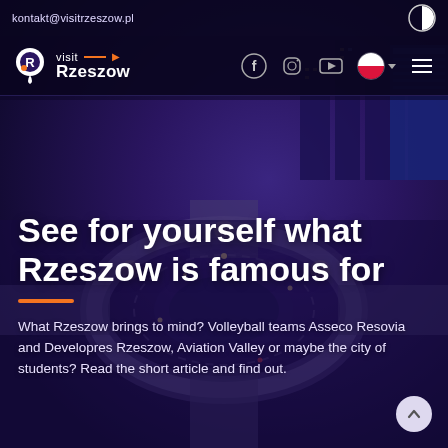kontakt@visitrzeszow.pl
[Figure (photo): Aerial night photograph of a city roundabout interchange with purple-toned overlay, buildings and city lights visible in the background]
visit Rzeszow (logo with R icon and social media icons for Facebook, Instagram, YouTube, and Polish flag)
See for yourself what Rzeszow is famous for
What Rzeszow brings to mind? Volleyball teams Asseco Resovia and Developres Rzeszow, Aviation Valley or maybe the city of students? Read the short article and find out.